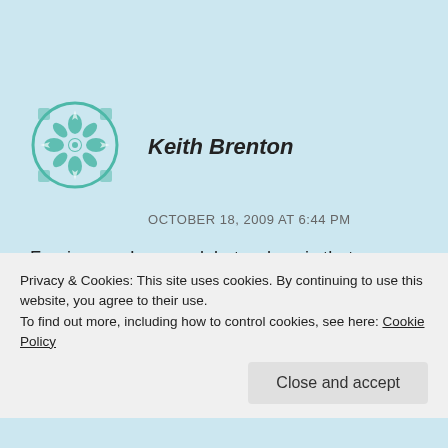[Figure (logo): Teal/white geometric mandala-style avatar icon for user Keith Brenton]
Keith Brenton
OCTOBER 18, 2009 AT 6:44 PM
Forgive me, Laymond, but … how is that possible?
Is only the worship composed of command, duty and obligation pleasing to God? And you to us if
Privacy & Cookies: This site uses cookies. By continuing to use this website, you agree to their use.
To find out more, including how to control cookies, see here: Cookie Policy
Close and accept